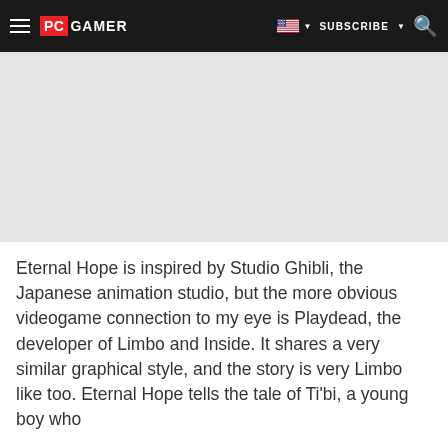PC GAMER | SUBSCRIBE
[Figure (other): Gray advertisement/placeholder area]
Eternal Hope is inspired by Studio Ghibli, the Japanese animation studio, but the more obvious videogame connection to my eye is Playdead, the developer of Limbo and Inside. It shares a very similar graphical style, and the story is very Limbo like too. Eternal Hope tells the tale of Ti'bi, a young boy who